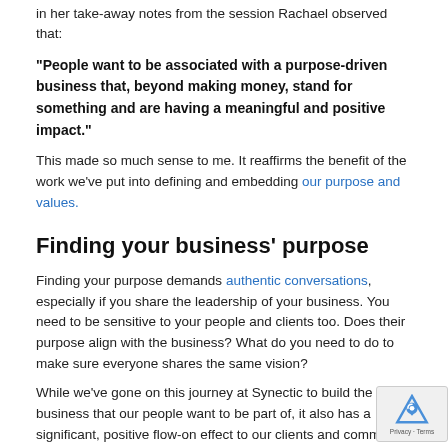in her take-away notes from the session Rachael observed that:
“People want to be associated with a purpose-driven business that, beyond making money, stand for something and are having a meaningful and positive impact.”
This made so much sense to me. It reaffirms the benefit of the work we’ve put into defining and embedding our purpose and values.
Finding your business’ purpose
Finding your purpose demands authentic conversations, especially if you share the leadership of your business. You need to be sensitive to your people and clients too. Does their purpose align with the business? What do you need to do to make sure everyone shares the same vision?
While we’ve gone on this journey at Synectic to build the business that our people want to be part of, it also has a significant, positive flow-on effect to our clients and community.